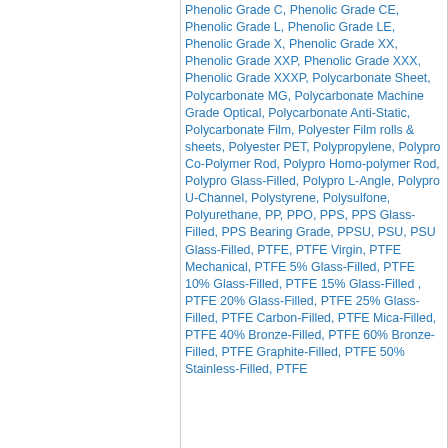Phenolic Grade C, Phenolic Grade CE, Phenolic Grade L, Phenolic Grade LE, Phenolic Grade X, Phenolic Grade XX, Phenolic Grade XXP, Phenolic Grade XXX, Phenolic Grade XXXP, Polycarbonate Sheet, Polycarbonate MG, Polycarbonate Machine Grade Optical, Polycarbonate Anti-Static, Polycarbonate Film, Polyester Film rolls & sheets, Polyester PET, Polypropylene, Polypro Co-Polymer Rod, Polypro Homo-polymer Rod, Polypro Glass-Filled, Polypro L-Angle, Polypro U-Channel, Polystyrene, Polysulfone, Polyurethane, PP, PPO, PPS, PPS Glass-Filled, PPS Bearing Grade, PPSU, PSU, PSU Glass-Filled, PTFE, PTFE Virgin, PTFE Mechanical, PTFE 5% Glass-Filled, PTFE 10% Glass-Filled, PTFE 15% Glass-Filled , PTFE 20% Glass-Filled, PTFE 25% Glass-Filled, PTFE Carbon-Filled, PTFE Mica-Filled, PTFE 40% Bronze-Filled, PTFE 60% Bronze-Filled, PTFE Graphite-Filled, PTFE 50% Stainless-Filled, PTFE